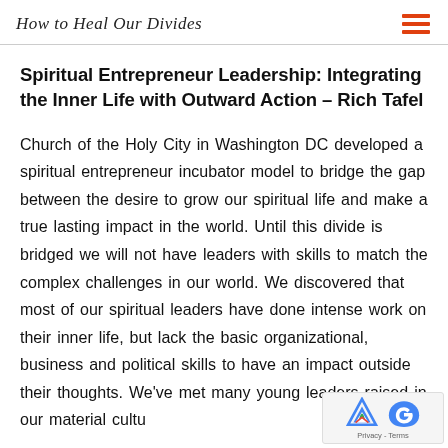How to Heal Our Divides
Spiritual Entrepreneur Leadership: Integrating the Inner Life with Outward Action – Rich Tafel
Church of the Holy City in Washington DC developed a spiritual entrepreneur incubator model to bridge the gap between the desire to grow our spiritual life and make a true lasting impact in the world. Until this divide is bridged we will not have leaders with skills to match the complex challenges in our world. We discovered that most of our spiritual leaders have done intense work on their inner life, but lack the basic organizational, business and political skills to have an impact outside their thoughts. We've met many young leaders raised in our material cultu…